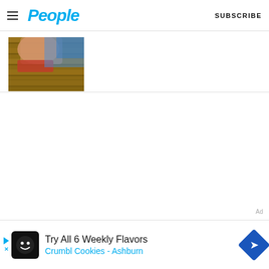People  SUBSCRIBE
[Figure (photo): Partial photo of a person on a wooden deck near water, showing legs/lower body with red swimwear]
Ad
[Figure (screenshot): Advertisement banner: Try All 6 Weekly Flavors - Crumbl Cookies - Ashburn, with Crumbl logo icon and blue diamond arrow icon]